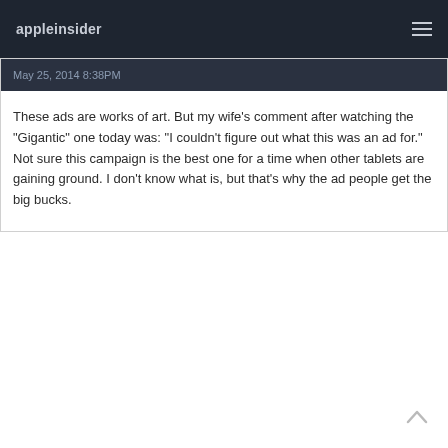appleinsider
May 25, 2014 8:38PM
These ads are works of art. But my wife's comment after watching the "Gigantic" one today was: "I couldn't figure out what this was an ad for." Not sure this campaign is the best one for a time when other tablets are gaining ground. I don't know what is, but that's why the ad people get the big bucks.